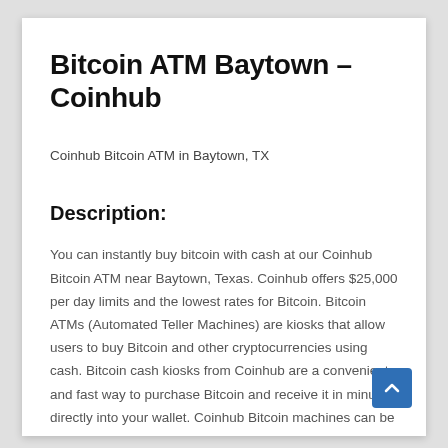Bitcoin ATM Baytown – Coinhub
Coinhub Bitcoin ATM in Baytown, TX
Description:
You can instantly buy bitcoin with cash at our Coinhub Bitcoin ATM near Baytown, Texas. Coinhub offers $25,000 per day limits and the lowest rates for Bitcoin. Bitcoin ATMs (Automated Teller Machines) are kiosks that allow users to buy Bitcoin and other cryptocurrencies using cash. Bitcoin cash kiosks from Coinhub are a convenient and fast way to purchase Bitcoin and receive it in minutes directly into your wallet. Coinhub Bitcoin machines can be used quickly